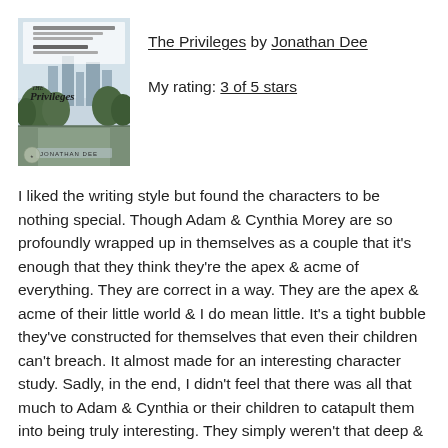[Figure (illustration): Book cover of 'The Privileges' by Jonathan Dee, showing a park scene with trees and city skyline in muted tones, with decorative script lettering.]
The Privileges by Jonathan Dee
My rating: 3 of 5 stars
I liked the writing style but found the characters to be nothing special. Though Adam & Cynthia Morey are so profoundly wrapped up in themselves as a couple that it's enough that they think they're the apex & acme of everything. They are correct in a way. They are the apex & acme of their little world & I do mean little. It's a tight bubble they've constructed for themselves that even their children can't breach. It almost made for an interesting character study. Sadly, in the end, I didn't feel that there was all that much to Adam & Cynthia or their children to catapult them into being truly interesting. They simply weren't that deep & since they were content to be that way, I was